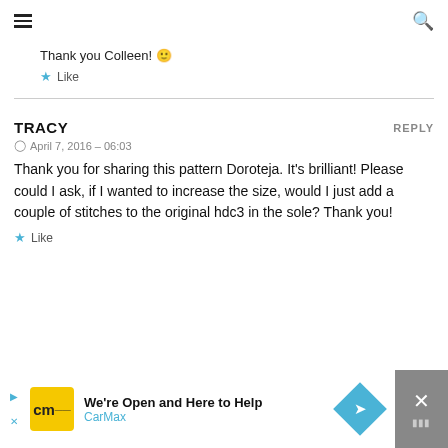[hamburger menu] [search icon]
Thank you Colleen! 🙂
★ Like
TRACY   REPLY
⊙ April 7, 2016 - 06:03
Thank you for sharing this pattern Doroteja. It's brilliant! Please could I ask, if I wanted to increase the size, would I just add a couple of stitches to the original hdc3 in the sole? Thank you!
★ Like
[Figure (screenshot): CarMax advertisement banner at bottom of page with yellow CM logo, 'We're Open and Here to Help', CarMax text, blue diamond navigation icon, and close button]